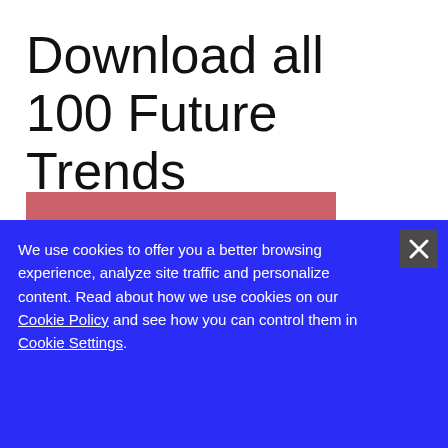Download all 100 Future Trends
Click For Future Trends
We use cookies to offer you a better browsing experience, analyze site traffic and personalize content. Read about how we use cookies on our Cookie Policy and see how you can control them in Cookie Settings.